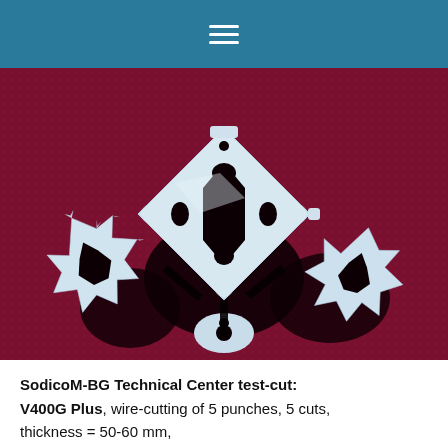[Figure (photo): A close-up photo of multiple wire-cut metal punches with intricate snowflake/cross shapes, placed on a red/maroon fabric background. The machined parts are silver/white metallic with detailed cutouts and serrated edges.]
SodicoM-BG Technical Center test-cut: V400G Plus, wire-cutting of 5 punches, 5 cuts, thickness = 50-60 mm, roughness = Ra 0,2 μ